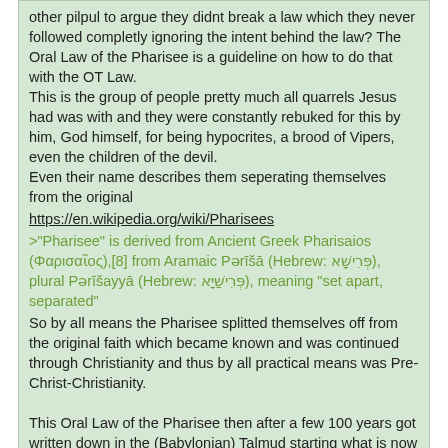other pilpul to argue they didnt break a law which they never followed completly ignoring the intent behind the law? The Oral Law of the Pharisee is a guideline on how to do that with the OT Law.
This is the group of people pretty much all quarrels Jesus had was with and they were constantly rebuked for this by him, God himself, for being hypocrites, a brood of Vipers, even the children of the devil.
Even their name describes them seperating themselves from the original
https://en.wikipedia.org/wiki/Pharisees
>"Pharisee" is derived from Ancient Greek Pharisaios (Φαρισαῖος),[8] from Aramaic Pərīšā (Hebrew: פְּרִישָׁא), plural Pərīšayyā (Hebrew: פְּרִישַׁיָּא), meaning "set apart, separated"
So by all means the Pharisee splitted themselves off from the original faith which became known and was continued through Christianity and thus by all practical means was Pre-Christ-Christianity.

This Oral Law of the Pharisee then after a few 100 years got written down in the (Babylonian) Talmud starting what is now known as Judaism. So its not that Christianity is based on Judaism, but that Judaism is a collection of blasphemies and herasies of Christianity
Christ Chan.png, 13KiB, 242x208
[Figure (illustration): Anime-style illustration of a girl with brown hair and blue eyes, partial view showing face and top of head with teal clothing]